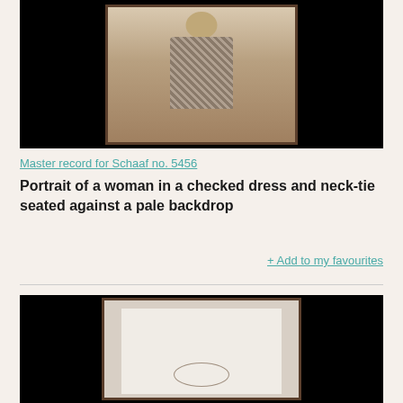[Figure (photo): Sepia-toned portrait photograph of a woman in a checked dress and neck-tie, seated against a pale backdrop, framed with dark border, displayed against black background]
Master record for Schaaf no. 5456
Portrait of a woman in a checked dress and neck-tie seated against a pale backdrop
+ Add to my favourites
[Figure (photo): Photograph of a pale/white document or paper with a faint mark or signature, in a dark frame, displayed against black background]